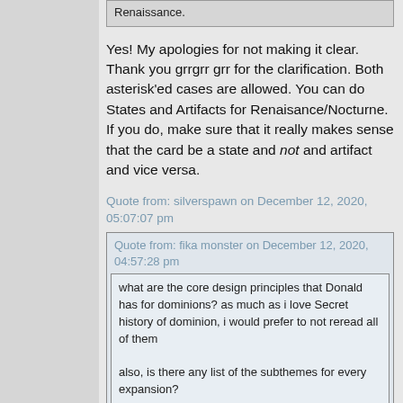Renaissance.
Yes! My apologies for not making it clear. Thank you grrgrr grr for the clarification. Both asterisk'ed cases are allowed. You can do States and Artifacts for Renaisance/Nocturne. If you do, make sure that it really makes sense that the card be a state and not and artifact and vice versa.
Quote from: silverspawn on December 12, 2020, 05:07:07 pm
Quote from: fika monster on December 12, 2020, 04:57:28 pm
what are the core design principles that Donald has for dominions? as much as i love Secret history of dominion, i would prefer to not reread all of them

also, is there any list of the subthemes for every expansion?
Use the wiki to look up expansion